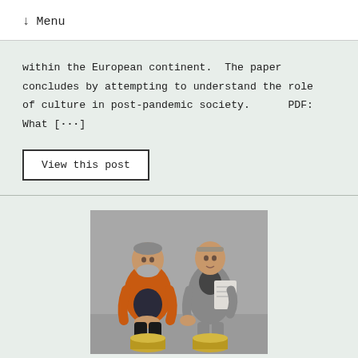↓  Menu
within the European continent. The paper concludes by attempting to understand the role of culture in post-pandemic society.     PDF: What […]
View this post
[Figure (photo): Two elderly men seated side by side. Left man wears an orange padded jacket over dark clothes. Right man wears a grey suit and holds papers. Both are seated on what appear to be golden/bronze cylindrical objects. Grey background.]